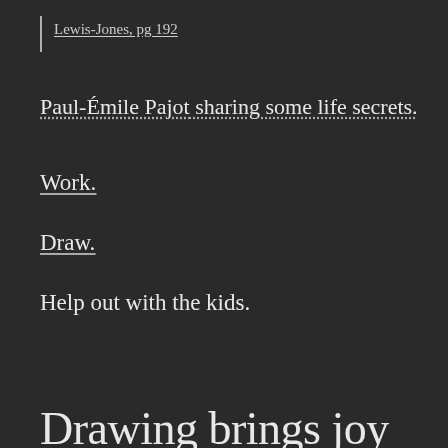Lewis-Jones, pg 192
Paul-Émile Pajot sharing some life secrets.
Work.
Draw.
Help out with the kids.
Drawing brings joy